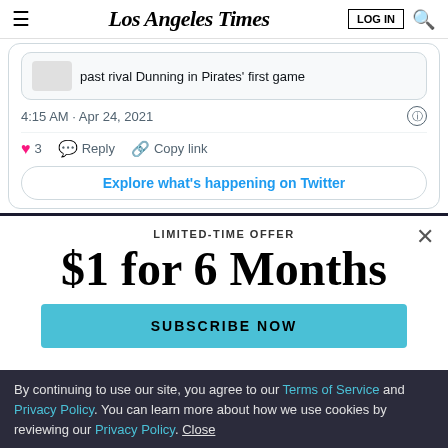Los Angeles Times
[Figure (screenshot): Partial Twitter/X embed showing a tweet with text 'past rival Dunning in Pirates' first game', timestamp '4:15 AM · Apr 24, 2021', info icon, heart icon with count 3, Reply button, Copy link button, and 'Explore what's happening on Twitter' button]
LIMITED-TIME OFFER
$1 for 6 Months
SUBSCRIBE NOW
By continuing to use our site, you agree to our Terms of Service and Privacy Policy. You can learn more about how we use cookies by reviewing our Privacy Policy. Close